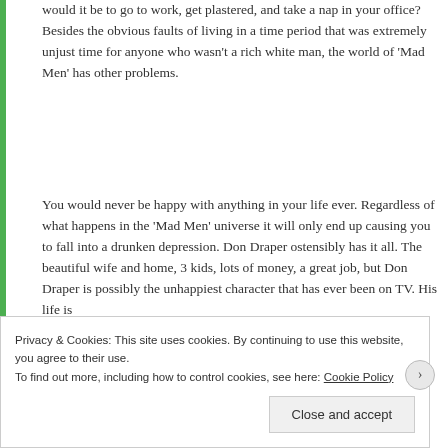would it be to go to work, get plastered, and take a nap in your office? Besides the obvious faults of living in a time period that was extremely unjust time for anyone who wasn’t a rich white man, the world of ‘Mad Men’ has other problems.
You would never be happy with anything in your life ever. Regardless of what happens in the ‘Mad Men’ universe it will only end up causing you to fall into a drunken depression. Don Draper ostensibly has it all. The beautiful wife and home, 3 kids, lots of money, a great job, but Don Draper is possibly the unhappiest character that has ever been on TV. His life is
Privacy & Cookies: This site uses cookies. By continuing to use this website, you agree to their use.
To find out more, including how to control cookies, see here: Cookie Policy